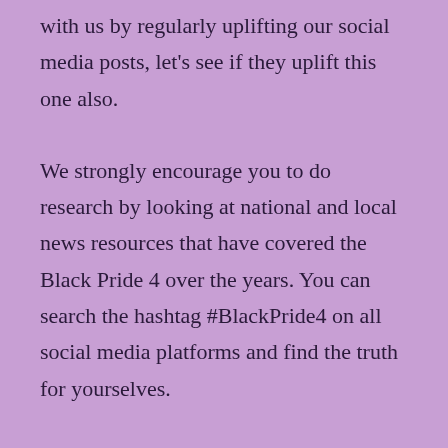with us by regularly uplifting our social media posts, let's see if they uplift this one also.
We strongly encourage you to do research by looking at national and local news resources that have covered the Black Pride 4 over the years. You can search the hashtag #BlackPride4 on all social media platforms and find the truth for yourselves.
The community has long called for reparations for